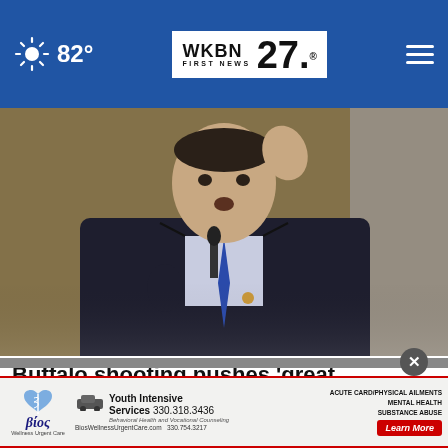82° WKBN FIRST NEWS 27
[Figure (photo): Man in dark suit with blue tie gesturing at a hearing, speaking at a microphone]
Buffalo shooting pushes ‘great replacement theory’ into national spotlight
[Figure (photo): Partially visible second article photo at bottom]
βίος Youth Intensive Services 330.318.3436 Behavioral Health and Vocational Counseling BiosWellnessUrgentCare.com 330.754.3217 ACUTE CARD/PHYSICAL AILMENTS MENTAL HEALTH SUBSTANCE ABUSE Learn More